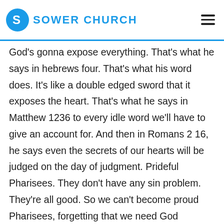SOWER CHURCH
God's gonna expose everything. That's what he says in hebrews four. That's what his word does. It's like a double edged sword that it exposes the heart. That's what he says in Matthew 1236 to every idle word we'll have to give an account for. And then in Romans 2 16, he says even the secrets of our hearts will be judged on the day of judgment. Prideful Pharisees. They don't have any sin problem. They're all good. So we can't become proud Pharisees, forgetting that we need God justifying ourselves based on the way in which men praise us, justifying ourselves on the little good deeds that we remember doing and saying, look, I'm good and so jesus says, beware of the leaven of the Pharisees that says warning. The solution is this we find it in colossians 3 17, but it's there in this passage in principle. But here's the solution. And whatever you do in word or